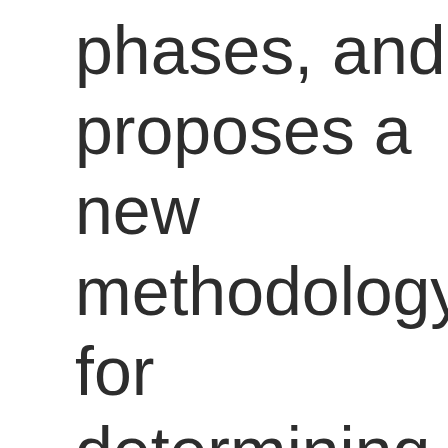phases, and proposes a new methodology for determining the extent of the